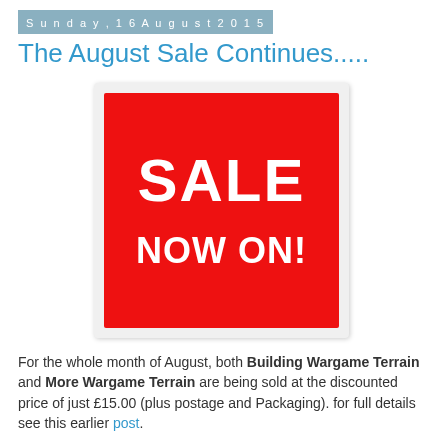Sunday, 16 August 2015
The August Sale Continues.....
[Figure (illustration): Red sale sign with white text reading SALE NOW ON!]
For the whole month of August, both Building Wargame Terrain and More Wargame Terrain are being sold at the discounted price of just £15.00 (plus postage and Packaging). for full details see this earlier post.
However I can report that ALL perfect copies of